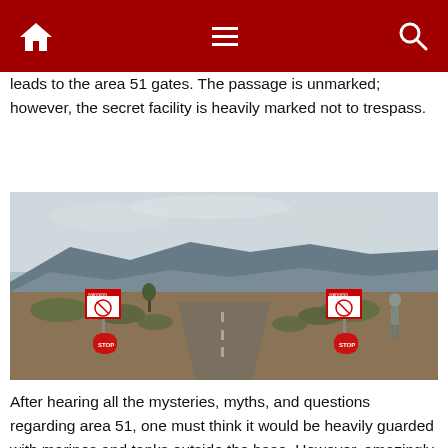Home | Menu | Search
leads to the area 51 gates. The passage is unmarked; however, the secret facility is heavily marked not to trespass.
[Figure (photo): A road leading toward Area 51 gates flanked by two sets of warning signs and STOP signs on poles, desert scrubland on either side, mountains in background, overcast sky, a person standing near the right-side signs.]
After hearing all the mysteries, myths, and questions regarding area 51, one must think it would be heavily guarded with marines and tanks outside the base. However, amazingly, the mysterious area is protected by a chain-link fence, a boom gate, and threatening trespassing signs.